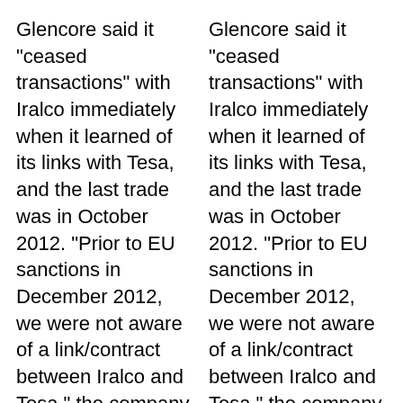Glencore said it "ceased transactions" with Iralco immediately when it learned of its links with Tesa, and the last trade was in October 2012. "Prior to EU sanctions in December 2012, we were not aware of a link/contract between Iralco and Tesa," the company said in a statement.
Glencore said it "ceased transactions" with Iralco immediately when it learned of its links with Tesa, and the last trade was in October 2012. "Prior to EU sanctions in December 2012, we were not aware of a link/contract between Iralco and Tesa," the company said in a statement.
Glencore said it is "reliant on the relevant regulatory bodies/governments to advise us on developments in who we can/can't do business
Glencore said it is "reliant on the relevant regulatory bodies/governments to advise us on developments in who we can/can't do business